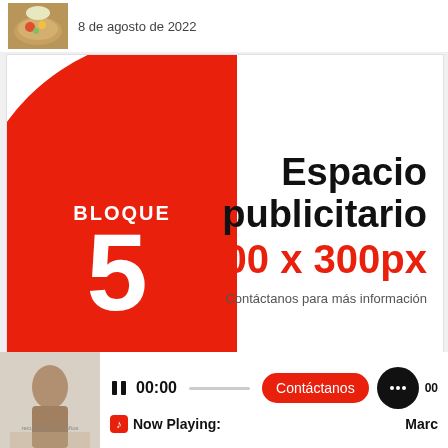[Figure (photo): Food photo thumbnail showing a dish, top-left corner]
8 de agosto de 2022
[Figure (infographic): Advertisement block: red semicircle on left with 'BLOQUE 5' text, white right side with 'Espacio publicitario 400 x 300px Contáctanos para más información']
[Figure (photo): Album art thumbnail showing a person with tattoos]
00:00
Contáctanos
Now Playing:   Marc